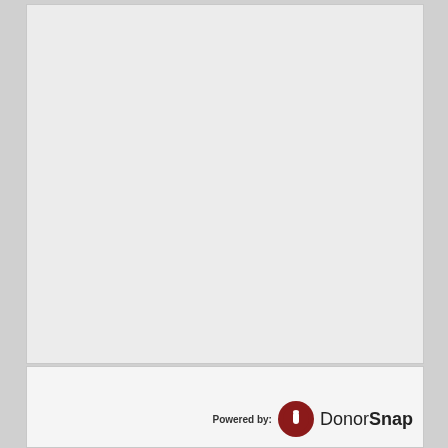[Figure (other): Blank light gray content area]
[Figure (logo): DonorSnap logo with 'Powered by:' label. A dark red circle with a white hand/thumbs icon, followed by 'DonorSnap' text in black where 'Snap' is bold.]